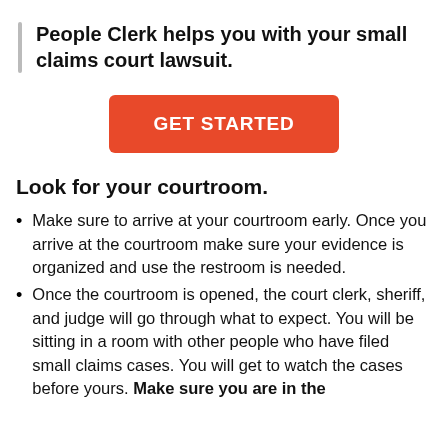People Clerk helps you with your small claims court lawsuit.
[Figure (other): Orange GET STARTED button]
Look for your courtroom.
Make sure to arrive at your courtroom early. Once you arrive at the courtroom make sure your evidence is organized and use the restroom is needed.
Once the courtroom is opened, the court clerk, sheriff, and judge will go through what to expect. You will be sitting in a room with other people who have filed small claims cases. You will get to watch the cases before yours. Make sure you are in the…